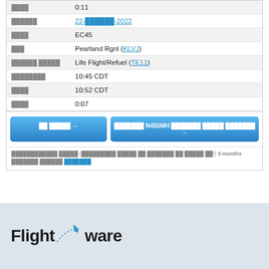| ████ | 0:11 |
| ██████ | 22-██████-2022 |
| ████ | EC45 |
| ███ | Pearland Rgnl (KLVJ) |
| ██████ █████ | Life Flight/Refuel (TE11) |
| ████████ | 10:45 CDT |
| ████ | 10:52 CDT |
| ████ | 0:07 |
██ █████ →    ███████ N455MH ███████ █████ ███████ →
████████████ █████ (█████████ █████ ██:███████ ██ █████ ██!) 3 months ███████ ██████ ███████
[Figure (logo): FlightAware logo with airplane icon on light blue-grey background]